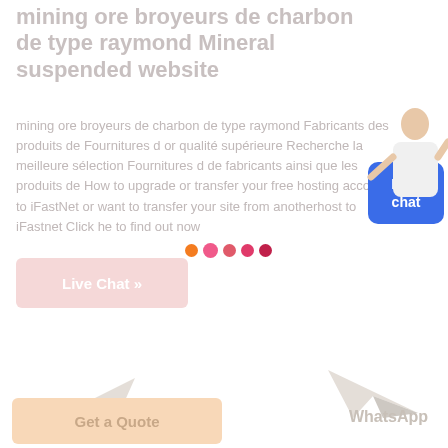mining ore broyeurs de charbon de type raymond Mineral suspended website
mining ore broyeurs de charbon de type raymond Fabricants des produits de Fournitures d or qualité supérieure Recherche la meilleure sélection Fournitures d de fabricants ainsi que les produits de How to upgrade or transfer your free hosting account to iFastNet or want to transfer your site from anotherhost to iFastnet Click he to find out now
[Figure (illustration): A person (customer service agent) illustration in top-right area]
[Figure (other): Five colored dots (orange, pink, dark pink, red-pink, dark red) in a row]
[Figure (other): Free chat blue button widget]
Live Chat »
[Figure (illustration): Small paper airplane icon bottom left]
[Figure (illustration): Small paper airplane icon bottom right]
Get a Quote
WhatsApp